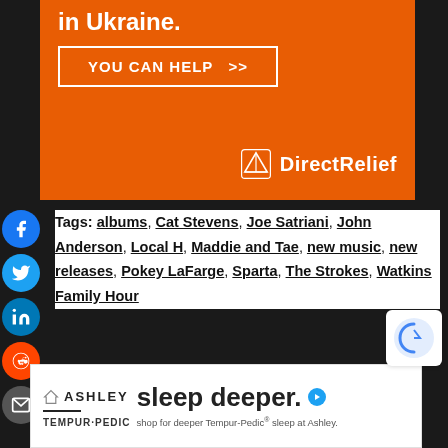[Figure (other): Orange Direct Relief donation banner with 'in Ukraine.' headline, 'YOU CAN HELP >>' button, and Direct Relief logo]
[Figure (infographic): Vertical social media sharing sidebar with Facebook, Twitter, LinkedIn, Reddit, and Email icons]
Tags: albums, Cat Stevens, Joe Satriani, John Anderson, Local H, Maddie and Tae, new music, new releases, Pokey LaFarge, Sparta, The Strokes, Watkins Family Hour
[Figure (other): Ashley sleep deeper advertisement banner with Tempur-Pedic logo at bottom]
[Figure (other): Partial reCAPTCHA widget in bottom right corner]